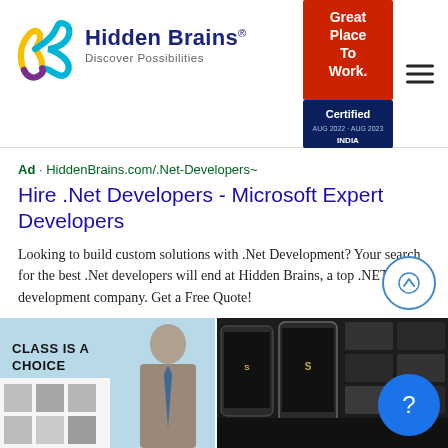[Figure (logo): Hidden Brains logo with colorful intertwined H and B letters]
Hidden Brains® — Discover Possibilities
[Figure (infographic): Great Place To Work Certified badge, Aug 2022 - Aug 2023, India]
Ad · HiddenBrains.com/.Net-Developers~
Hire .Net Developers - Microsoft Expert Developers
Looking to build custom solutions with .Net Development? Your search for the best .Net developers will end at Hidden Brains, a top .NET development company. Get a Free Quote!
[Figure (illustration): Fashion e-commerce screenshot showing a man in a suit with text CLASS IS A CHOICE]
[Figure (screenshot): Mobile app screenshots showing dark themed automotive or luxury app on multiple phones]